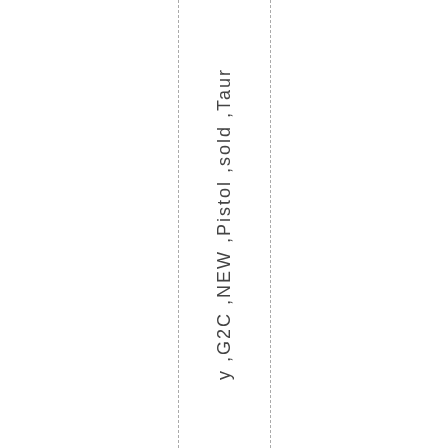y ,G2C ,NEW ,Pistol ,sold ,Taur